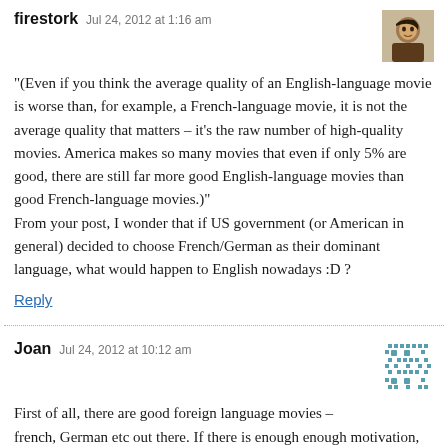firestork   Jul 24, 2012 at 1:16 am
“(Even if you think the average quality of an English-language movie is worse than, for example, a French-language movie, it is not the average quality that matters – it’s the raw number of high-quality movies. America makes so many movies that even if only 5% are good, there are still far more good English-language movies than good French-language movies.)” From your post, I wonder that if US government (or American in general) decided to choose French/German as their dominant language, what would happen to English nowadays :D ?
Reply
Joan   Jul 24, 2012 at 10:12 am
First of all, there are good foreign language movies – french, German etc out there. If there is enough enough motivation, then you will come across them. Just look at a review magazine in that language on movies, and you should find some. New ones are being